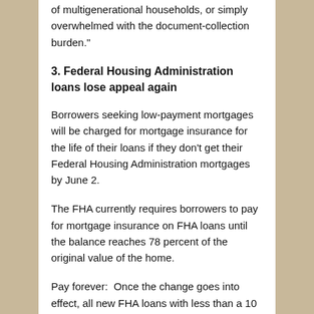of multigenerational households, or simply overwhelmed with the document-collection burden."
3. Federal Housing Administration loans lose appeal again
Borrowers seeking low-payment mortgages will be charged for mortgage insurance for the life of their loans if they don't get their Federal Housing Administration mortgages by June 2.
The FHA currently requires borrowers to pay for mortgage insurance on FHA loans until the balance reaches 78 percent of the original value of the home.
Pay forever:  Once the change goes into effect, all new FHA loans with less than a 10 percent down payment will carry mortgage insurance until the loan is refinanced or paid off. Loans with a 10 percent down payment or greater will have to pay for mortgage insurance for at least 11 years.